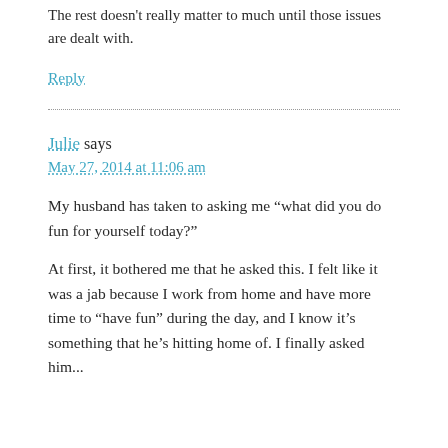The rest doesn't really matter to much until those issues are dealt with.
Reply
Julie says
May 27, 2014 at 11:06 am
My husband has taken to asking me “what did you do fun for yourself today?”
At first, it bothered me that he asked this. I felt like it was a jab because I work from home and have more time to “have fun” during the day, and I know it’s something that he’s hitting home of. I finally asked him...